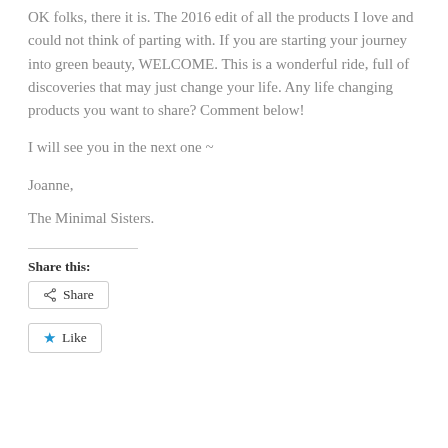OK folks, there it is. The 2016 edit of all the products I love and could not think of parting with. If you are starting your journey into green beauty, WELCOME. This is a wonderful ride, full of discoveries that may just change your life. Any life changing products you want to share? Comment below!
I will see you in the next one ~
Joanne,
The Minimal Sisters.
Share this:
[Figure (other): Share button with share icon]
[Figure (other): Like button with blue star icon]